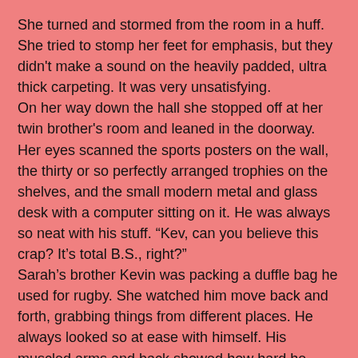She turned and stormed from the room in a huff. She tried to stomp her feet for emphasis, but they didn't make a sound on the heavily padded, ultra thick carpeting. It was very unsatisfying.
On her way down the hall she stopped off at her twin brother's room and leaned in the doorway. Her eyes scanned the sports posters on the wall, the thirty or so perfectly arranged trophies on the shelves, and the small modern metal and glass desk with a computer sitting on it. He was always so neat with his stuff. “Kev, can you believe this crap? It’s total B.S., right?”
Sarah’s brother Kevin was packing a duffle bag he used for rugby. She watched him move back and forth, grabbing things from different places. He always looked so at ease with himself. His muscled arms and back showed how hard he worked out so he could excel at his favorite sport. He was like most rugby players – he laughed at football players because they had to wear pads and helmets. Rugby players had to worry every game about broken bones and ears being bitten off, or so he said.